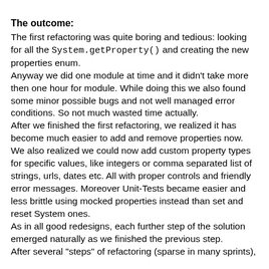The outcome:
The first refactoring was quite boring and tedious: looking for all the System.getProperty() and creating the new properties enum.
Anyway we did one module at time and it didn't take more then one hour for module. While doing this we also found some minor possible bugs and not well managed error conditions. So not much wasted time actually.
After we finished the first refactoring, we realized it has become much easier to add and remove properties now. We also realized we could now add custom property types for specific values, like integers or comma separated list of strings, urls, dates etc. All with proper controls and friendly error messages. Moreover Unit-Tests became easier and less brittle using mocked properties instead than set and reset System ones.
As in all good redesigns, each further step of the solution emerged naturally as we finished the previous step.
After several "steps" of refactoring (sparse in many sprints),